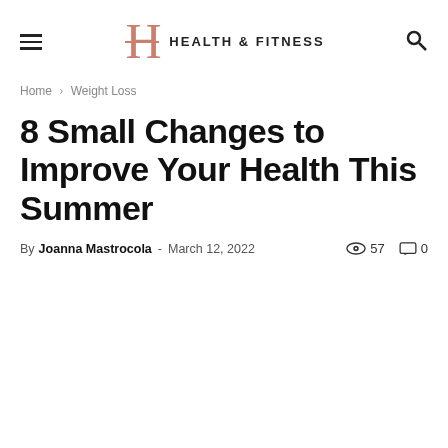HEALTH & FITNESS
Home › Weight Loss
8 Small Changes to Improve Your Health This Summer
By Joanna Mastrocola - March 12, 2022   57   0